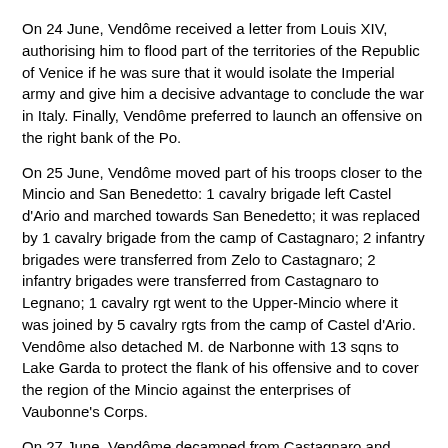On 24 June, Vendôme received a letter from Louis XIV, authorising him to flood part of the territories of the Republic of Venice if he was sure that it would isolate the Imperial army and give him a decisive advantage to conclude the war in Italy. Finally, Vendôme preferred to launch an offensive on the right bank of the Po.
On 25 June, Vendôme moved part of his troops closer to the Mincio and San Benedetto: 1 cavalry brigade left Castel d'Ario and marched towards San Benedetto; it was replaced by 1 cavalry brigade from the camp of Castagnaro; 2 infantry brigades were transferred from Zelo to Castagnaro; 2 infantry brigades were transferred from Castagnaro to Legnano; 1 cavalry rgt went to the Upper-Mincio where it was joined by 5 cavalry rgts from the camp of Castel d'Ario. Vendôme also detached M. de Narbonne with 13 sqns to Lake Garda to protect the flank of his offensive and to cover the region of the Mincio against the enterprises of Vaubonne's Corps.
On 27 June, Vendôme decamped from Castagnaro and marched to Legnano where he arrived at noon. There, Vendôme was informed that Vaubonne's Army at Bussolengo counted only 2,000 horse and 3,000 newly recruited Croatian Hayducks (probably the 2 bns of Mallenich Hayducks). Vendôme immediately detached 20 grenadier coys and 600 foot under MM. de Médavi, de Bouligneux and de Chartogne to attack Vaubonne. They were instructed to march by Cerea and then to march to Pozzo by Bovolone and Villafontana. Four hours after their departure,